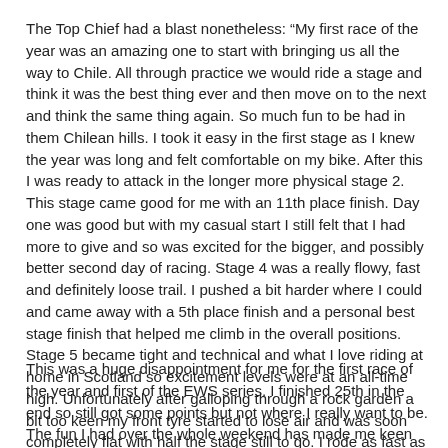The Top Chief had a blast nonetheless: “My first race of the year was an amazing one to start with bringing us all the way to Chile. All through practice we would ride a stage and think it was the best thing ever and then move on to the next and think the same thing again. So much fun to be had in them Chilean hills. I took it easy in the first stage as I knew the year was long and felt comfortable on my bike. After this I was ready to attack in the longer more physical stage 2. This stage came good for me with an 11th place finish. Day one was good but with my casual start I still felt that I had more to give and so was excited for the bigger, and possibly better second day of racing. Stage 4 was a really flowy, fast and definitely loose trail. I pushed a bit harder where I could and came away with a 5th place finish and a personal best stage finish that helped me climb in the overall positions. Stage 5 became tight and technical and what I love riding at home in Scotland so excitement levels were at an all-time high. Unfortunately after galloping through a rock garden a bit too keen my front tyre started to lose air and was soon completely flat with half the stage still to go. I rode as fast as I could but lost a good amount of time to my competitors.
This was a huge disappointment for me for the first race of the year and first of the EWS series. I finished 25th in the end so still got some points but not where I really want to be. The fun I had over the whole weekend has made me keen for more and can’t wait for the second round coming